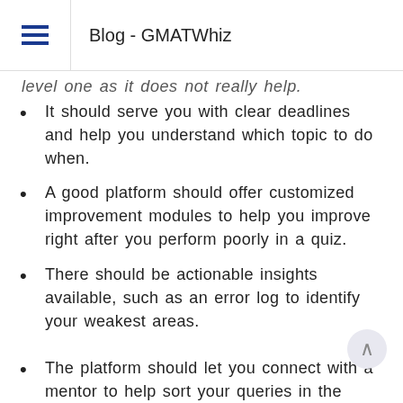Blog - GMATWhiz
level one as it does not really help.
It should serve you with clear deadlines and help you understand which topic to do when.
A good platform should offer customized improvement modules to help you improve right after you perform poorly in a quiz.
There should be actionable insights available, such as an error log to identify your weakest areas.
The platform should let you connect with a mentor to help sort your queries in the least possible time.
Follow Through